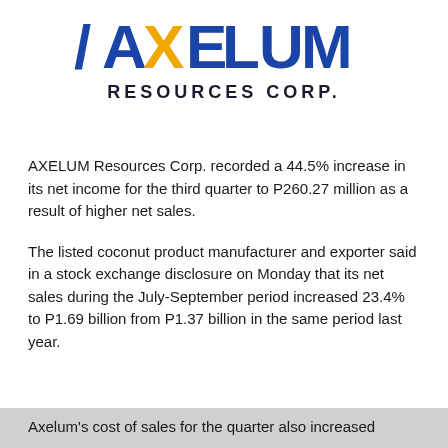[Figure (logo): Axelum Resources Corp. logo with stylized 'AXELUM' text in blue and gold, followed by 'RESOURCES CORP.' in bold dark letters below]
AXELUM Resources Corp. recorded a 44.5% increase in its net income for the third quarter to P260.27 million as a result of higher net sales.
The listed coconut product manufacturer and exporter said in a stock exchange disclosure on Monday that its net sales during the July-September period increased 23.4% to P1.69 billion from P1.37 billion in the same period last year.
Axelum's cost of sales for the quarter also increased